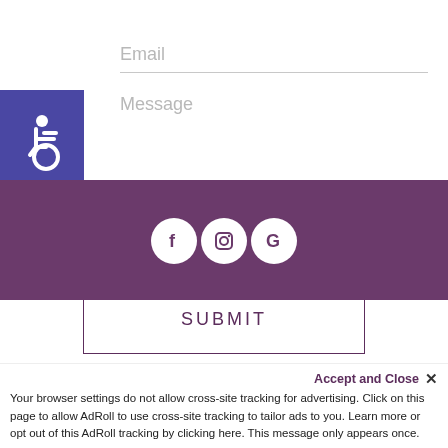[Figure (illustration): Blue square with white wheelchair accessibility icon]
Email
Message
SUBMIT
[Figure (illustration): Purple footer bar with three social media circular icons: Facebook (f), Instagram (camera), Google (G)]
Accept and Close ×
Your browser settings do not allow cross-site tracking for advertising. Click on this page to allow AdRoll to use cross-site tracking to tailor ads to you. Learn more or opt out of this AdRoll tracking by clicking here. This message only appears once.